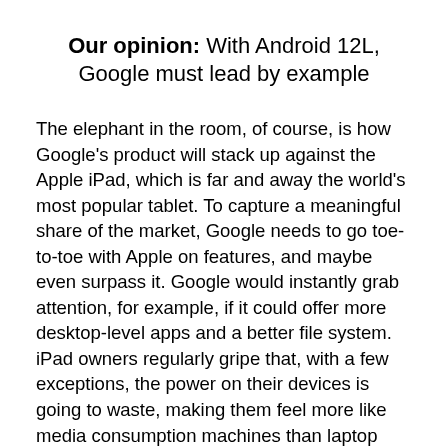Our opinion: With Android 12L, Google must lead by example
The elephant in the room, of course, is how Google's product will stack up against the Apple iPad, which is far and away the world's most popular tablet. To capture a meaningful share of the market, Google needs to go toe-to-toe with Apple on features, and maybe even surpass it. Google would instantly grab attention, for example, if it could offer more desktop-level apps and a better file system. iPad owners regularly gripe that, with a few exceptions, the power on their devices is going to waste, making them feel more like media consumption machines than laptop replacements. That's despite iPad Pros